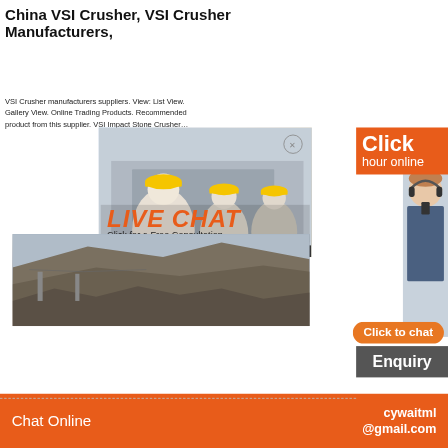China VSI Crusher, VSI Crusher Manufacturers,
VSI Crusher manufacturers suppliers. View: List View. Gallery View. Online Trading Products. Recommended product from this supplier. VSI Impact Stone Crusher…
[Figure (screenshot): Live chat overlay with workers in hard hats, orange LIVE CHAT heading, 'Click for a Free Consultation', Chat now and Chat later buttons, customer service representative on right side, Click to chat and Enquiry buttons]
Chat Online   cywaitml @gmail.com